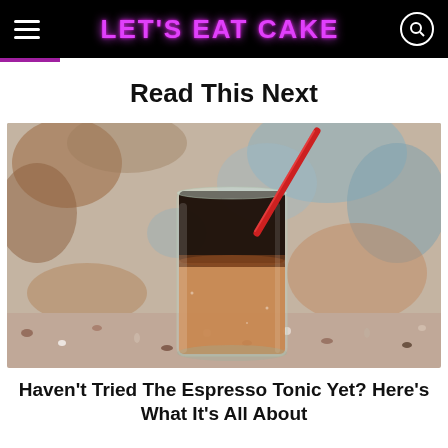LET'S EAT CAKE
Read This Next
[Figure (photo): A glass of espresso tonic with a red straw, sitting on a terrazzo counter in front of a weathered painted wall background. The drink has a dark espresso layer on top and an amber tonic layer on the bottom.]
Haven't Tried The Espresso Tonic Yet? Here's What It's All About